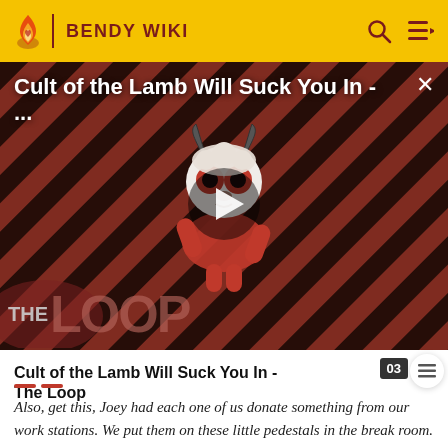BENDY WIKI
[Figure (screenshot): Video thumbnail for 'Cult of the Lamb Will Suck You In - The Loop' showing a cartoon lamb character with red eyes on a diagonal stripe background, with a play button overlay and THE LOOP branding at the bottom left.]
Cult of the Lamb Will Suck You In - The Loop
Also, get this, Joey had each one of us donate something from our work stations. We put them on these little pedestals in the break room. To help